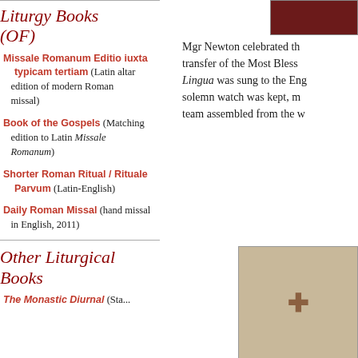[Figure (photo): Dark red/maroon rectangular photo at top right corner]
Liturgy Books (OF)
Missale Romanum Editio iuxta typicam tertiam (Latin altar edition of modern Roman missal)
Book of the Gospels (Matching edition to Latin Missale Romanum)
Shorter Roman Ritual / Rituale Parvum (Latin-English)
Daily Roman Missal (hand missal in English, 2011)
Other Liturgical Books
The Monastic Diurnal (Sta...
Mgr Newton celebrated th... transfer of the Most Bless... Lingua was sung to the Eng... solemn watch was kept, m... team assembled from the w...
[Figure (photo): Photo of a liturgical vestment or door with a gold cross symbol on beige/cream background]